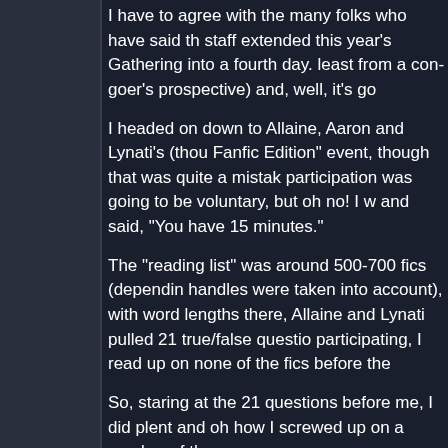I have to agree with the many folks who have said the staff extended this year's Gathering into a fourth day. least from a con-goer's prospective) and, well, it's go
I headed on down to Allaine, Aaron and Lynati's (thou Fanfic Edition" event, though that was quite a mistak participation was going to be voluntary, but oh no! I w and said, "You have 15 minutes."
The "reading list" was around 500-700 fics (dependin handles were taken into account), with word lengths there, Allaine and Lynati pulled 21 true/false questio participating, I read up on none of the fics before the
So, staring at the 21 questions before me, I did plent and oh how I screwed up on a number of them.
G-Side, Ellen and Alexandria made it to the next rou of those 21 correct (it turned out I got 12 right), and s won, though Ellen and Alexandria were able to hold t
From there it was lunch with Allaine, Ellen, Alexandri feels like I'm forgetting somebody, and I mean no offe